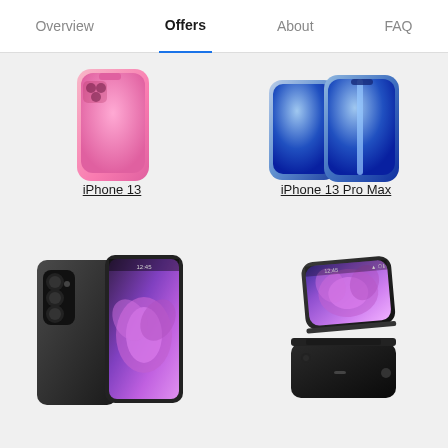Overview | Offers | About | FAQ
[Figure (photo): iPhone 13 in pink color]
iPhone 13
[Figure (photo): iPhone 13 Pro Max in blue color]
iPhone 13 Pro Max
[Figure (photo): Samsung Galaxy Z Fold 3 in black]
[Figure (photo): Samsung Galaxy Z Flip 3 in black]